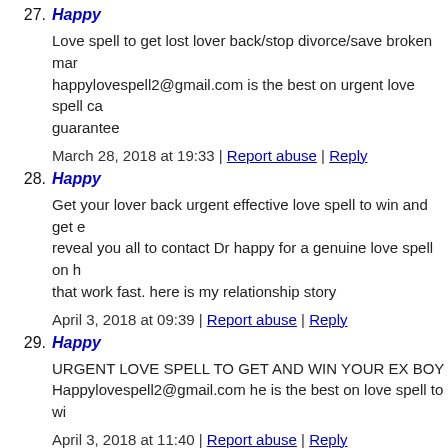27. Happy
Love spell to get lost lover back/stop divorce/save broken mar... happylovespell2@gmail.com is the best on urgent love spell ca... guarantee
March 28, 2018 at 19:33 | Report abuse | Reply
28. Happy
Get your lover back urgent effective love spell to win and get e... reveal you all to contact Dr happy for a genuine love spell on h... that work fast. here is my relationship story
April 3, 2018 at 09:39 | Report abuse | Reply
29. Happy
URGENT LOVE SPELL TO GET AND WIN YOUR EX BOY... Happylovespell2@gmail.com he is the best on love spell to wi...
April 3, 2018 at 11:40 | Report abuse | Reply
30. Happy
Get your lover back urgent effective love spell to win and get e... reveal you all to contact Dr happy for a genuine love spell on h... that work fast.